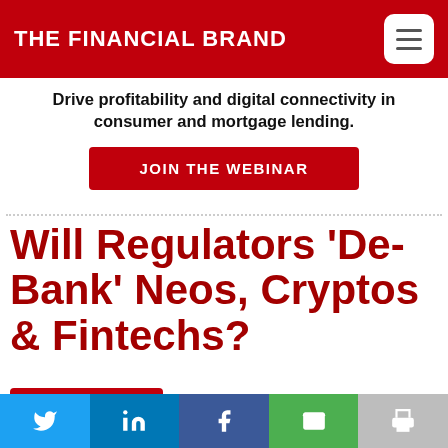THE FINANCIAL BRAND
Drive profitability and digital connectivity in consumer and mortgage lending.
JOIN THE WEBINAR
Will Regulators ‘De-Bank’ Neos, Cryptos & Fintechs?
SUBSCRIBE NOW   FREE EMAIL NEWSLETTER
Regulatory actions against Chime and Coinbase may just be the beginning of a